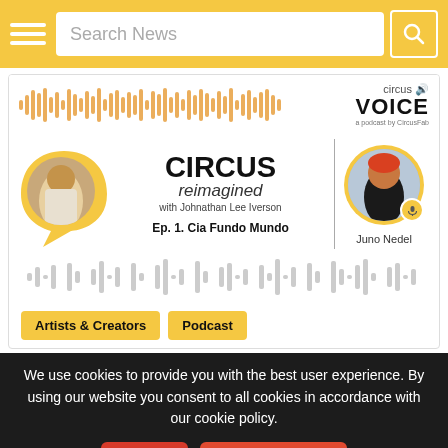Search News
[Figure (screenshot): Circus Voice podcast episode page showing 'Circus Reimagined with Johnathan Lee Iverson, Ep. 1. Cia Fundo Mundo, featuring Juno Nedel', with audio waveform graphic and yellow speech bubble avatar for host.]
Artists & Creators
Podcast
We use cookies to provide you with the best user experience. By using our website you consent to all cookies in accordance with our cookie policy.
OK
Privacy Details